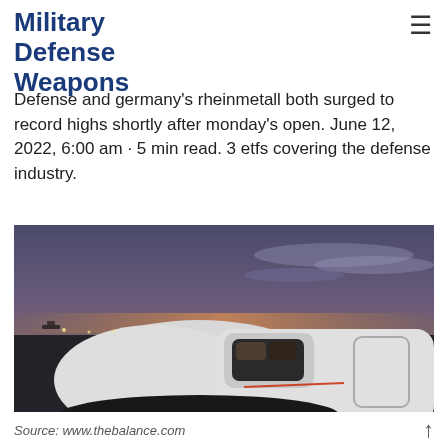Military Defense Weapons
Defense and germany's rheinmetall both surged to record highs shortly after monday's open. June 12, 2022, 6:00 am · 5 min read. 3 etfs covering the defense industry.
[Figure (photo): Close-up photograph of the nose and cockpit of a white commercial or military aircraft on a tarmac at dusk/dawn, with a colorful sky showing purple, blue, and orange hues in the background.]
Source: www.thebalance.com